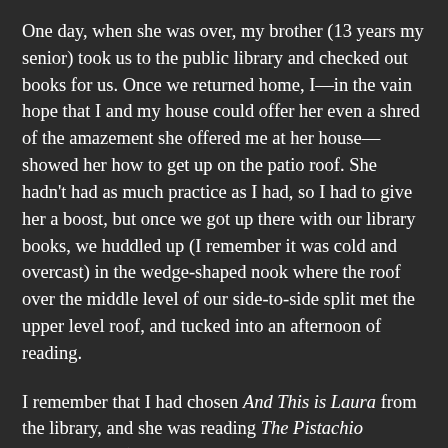One day, when she was over, my brother (13 years my senior) took us to the public library and checked out books for us. Once we returned home, I—in the vain hope that I and my house could offer her even a shred of the amazement she offered me at her house—showed her how to get up on the patio roof. She hadn't had as much practice as I had, so I had to give her a boost, but once we got up there with our library books, we huddled up (I remember it was cold and overcast) in the wedge-shaped nook where the roof over the middle level of our side-to-side split met the upper level roof, and tucked into an afternoon of reading.
I remember that I had chosen And This is Laura from the library, and she was reading The Pistachio Prescription. (Seriously, don't ever tell my dogs about this.)
Eventually, we got cold, or hungry, or maybe had to pee,